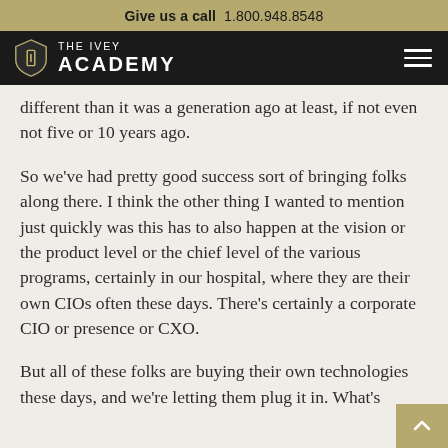Give us a call 1.800.948.8548
THE IVEY ACADEMY
different than it was a generation ago at least, if not even not five or 10 years ago.
So we've had pretty good success sort of bringing folks along there. I think the other thing I wanted to mention just quickly was this has to also happen at the vision or the product level or the chief level of the various programs, certainly in our hospital, where they are their own CIOs often these days. There's certainly a corporate CIO or presence or CXO.
But all of these folks are buying their own technologies these days, and we're letting them plug it in. What's